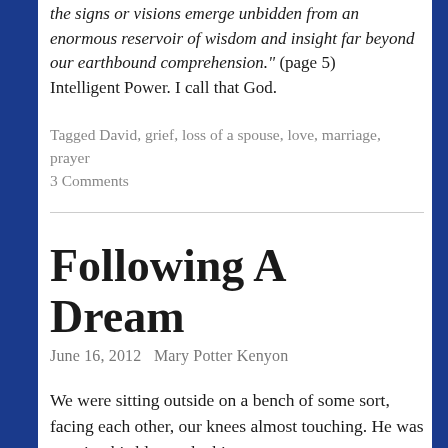the signs or visions emerge unbidden from an enormous reservoir of wisdom and insight far beyond our earthbound comprehension." (page 5) Intelligent Power. I call that God.
Tagged David, grief, loss of a spouse, love, marriage, prayer
3 Comments
Following A Dream
June 16, 2012   Mary Potter Kenyon
We were sitting outside on a bench of some sort, facing each other, our knees almost touching. He was wearing his blue and white